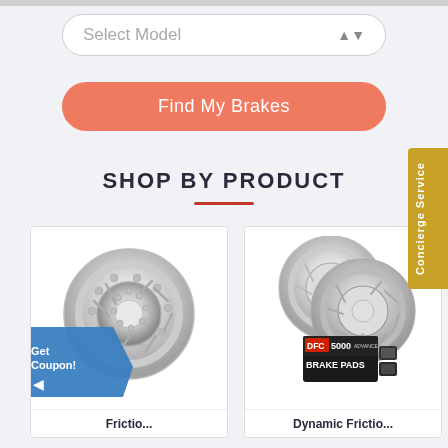[Figure (screenshot): Select Model dropdown input with light gray background and rounded corners]
[Figure (screenshot): Orange/salmon colored 'Find My Brakes' button with rounded corners]
SHOP BY PRODUCT
[Figure (photo): Single drilled and slotted brake rotor product card with 'Get Coupon!' badge and partial label 'Frictio...' at bottom]
[Figure (photo): Brake kit product card showing two rotors and DFC 5000 brake pads box, partial label 'Dynamic Frictio...' at bottom]
[Figure (infographic): Gold/yellow 'Concierge Service' vertical tab on right edge]